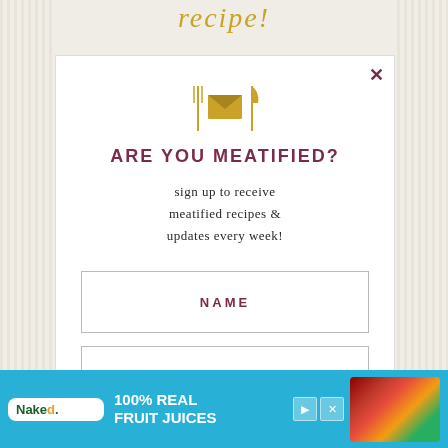recipe!
[Figure (illustration): Golden envelope icon flanked by fork and knife utensils in gold color]
ARE YOU MEATIFIED?
sign up to receive meatified recipes & updates every week!
NAME
EMAIL ADDRESS
SIGN ME UP!
[Figure (infographic): Naked juice advertisement banner - 100% REAL FRUIT JUICES with Naked brand logo and fruit imagery]